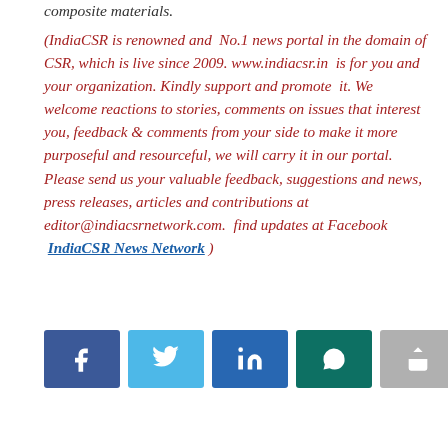composite materials.
(IndiaCSR is renowned and No.1 news portal in the domain of CSR, which is live since 2009. www.indiacsr.in is for you and your organization. Kindly support and promote it. We welcome reactions to stories, comments on issues that interest you, feedback & comments from your side to make it more purposeful and resourceful, we will carry it in our portal. Please send us your valuable feedback, suggestions and news, press releases, articles and contributions at editor@indiacsrnetwork.com. find updates at Facebook IndiaCSR News Network )
[Figure (other): Social share buttons: Facebook (dark blue), Twitter (light blue), LinkedIn (blue), WhatsApp (teal/dark green), Share/forward (grey)]